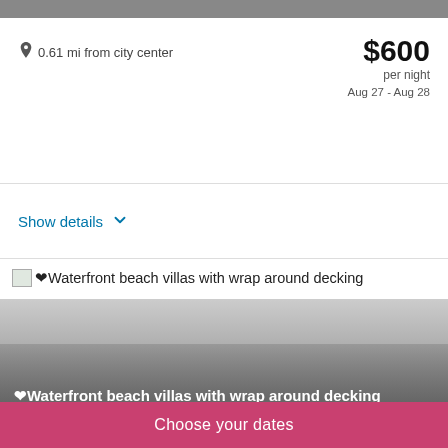0.61 mi from city center
$600 per night Aug 27 - Aug 28
Show details
[Figure (screenshot): Listing photo showing waterfront beach villas with wrap around decking, gray/gradient placeholder image with title overlay]
❤Waterfront beach villas with wrap around decking
Great harbor Cay, Berry Islands
1.52 mi from city center
Choose your dates